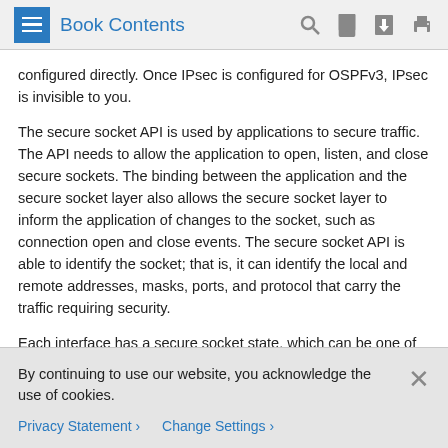Book Contents
configured directly. Once IPsec is configured for OSPFv3, IPsec is invisible to you.
The secure socket API is used by applications to secure traffic. The API needs to allow the application to open, listen, and close secure sockets. The binding between the application and the secure socket layer also allows the secure socket layer to inform the application of changes to the socket, such as connection open and close events. The secure socket API is able to identify the socket; that is, it can identify the local and remote addresses, masks, ports, and protocol that carry the traffic requiring security.
Each interface has a secure socket state, which can be one of the following:
By continuing to use our website, you acknowledge the use of cookies.
Privacy Statement › Change Settings ›